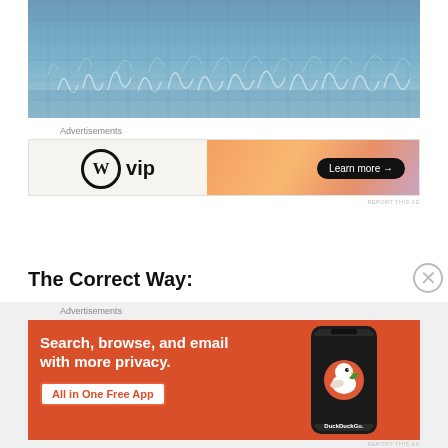[Figure (photo): Underwater view of a swimming pool with blue tiles and light reflections creating wavy white patterns on the surface.]
Advertisements
[Figure (screenshot): WordPress VIP advertisement banner. Left side has white/beige background with WordPress logo (W in circle) and 'vip' text. Right side has orange/peach gradient with 'Learn more →' button in black rounded rectangle.]
REPORT THIS AD
The Correct Way:
Advertisements
[Figure (screenshot): DuckDuckGo advertisement banner. Orange/red background with white text: 'Search, browse, and email with more privacy.' and 'All in One Free App' button. Right side shows a dark smartphone with the DuckDuckGo duck logo and 'DuckDuckGo.' text.]
REPORT THIS AD